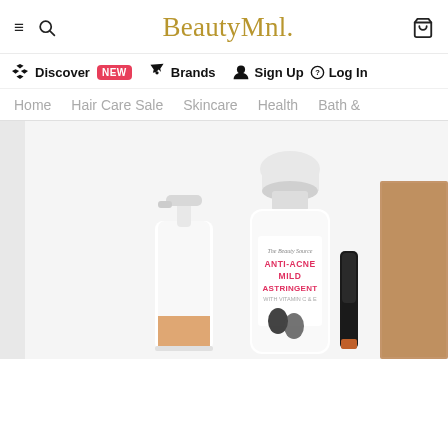BeautyMnl.
Discover NEW   Brands   Sign Up   Log In
Home   Hair Care Sale   Skincare   Health   Bath &
[Figure (photo): BeautyMnl website screenshot showing beauty products including an Anti-Acne Mild Astringent bottle, a pump bottle serum, a black mascara tube, and a brown box on a light grey background.]